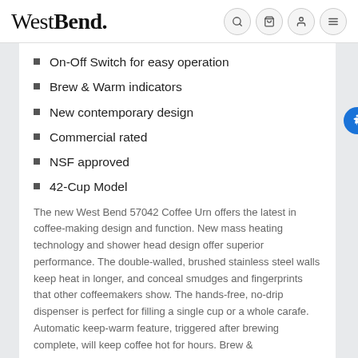WestBend.
On-Off Switch for easy operation
Brew & Warm indicators
New contemporary design
Commercial rated
NSF approved
42-Cup Model
The new West Bend 57042 Coffee Urn offers the latest in coffee-making design and function. New mass heating technology and shower head design offer superior performance. The double-walled, brushed stainless steel walls keep heat in longer, and conceal smudges and fingerprints that other coffeemakers show. The hands-free, no-drip dispenser is perfect for filling a single cup or a whole carafe. Automatic keep-warm feature, triggered after brewing is complete, will keep coffee hot for hours. Brew &